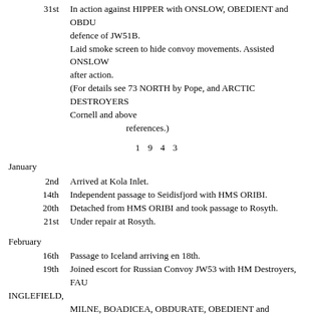31st  In action against HIPPER with ONSLOW, OBEDIENT and OBDURATE in defence of JW51B.
  Laid smoke screen to hide convoy movements. Assisted ONSLOW after action.
  (For details see 73 NORTH by Pope, and ARCTIC DESTROYERS by Cornell and above references.)
1 9 4 3
January
2nd  Arrived at Kola Inlet.
14th  Independent passage to Seidisfjord with HMS ORIBI.
20th  Detached from HMS ORIBI and took passage to Rosyth.
21st  Under repair at Rosyth.
February
16th  Passage to Iceland arriving en 18th.
19th  Joined escort for Russian Convoy JW53 with HM Destroyers, FAULKNOR, INGLEFIELD, MILNE, BOADICEA, OBDURATE, OBEDIENT and OPPORTUNE.
21st  HM Cruiser SCYLLA and four destroyers joined convoy escort.
27th  Detached after arrival of eastern local escort.
  (Note: The extreme weather prevented enemy activity but caused serious damage to many warships. See references.)